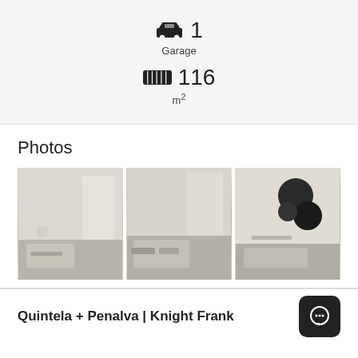1 Garage
116 m²
Photos
[Figure (photo): Interior living room photo 1 - modern apartment with sofa and large windows]
[Figure (photo): Interior living room photo 2 - modern apartment with sofa and large windows]
[Figure (photo): Interior bedroom/office photo 3 - modern apartment with artwork and dresser]
Quintela + Penalva | Knight Frank